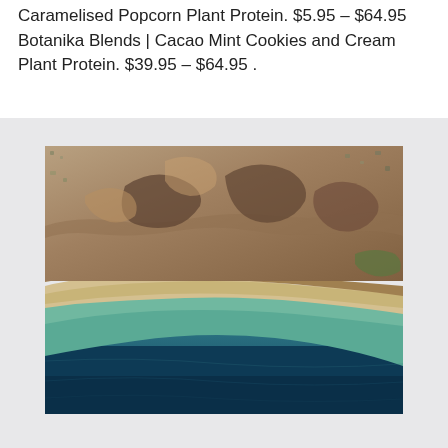Caramelised Popcorn Plant Protein. $5.95 – $64.95 Botanika Blends | Cacao Mint Cookies and Cream Plant Protein. $39.95 – $64.95 .
[Figure (photo): Aerial photograph of a coastal area showing a curved shoreline with sandy beach, turquoise shallow water transitioning to deep blue ocean, and arid rocky terrain with scattered urban development inland.]